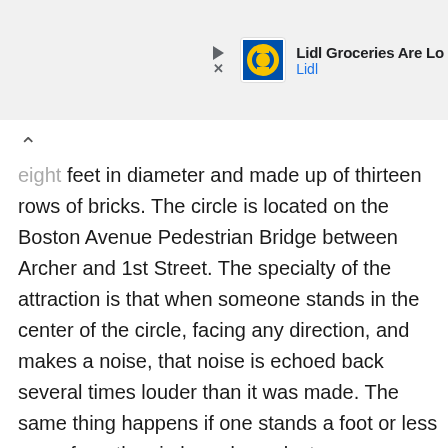[Figure (screenshot): Lidl advertisement banner with Lidl logo, play button icon, close icon, text 'Lidl Groceries Are Lo' and 'Lidl' in blue]
eight feet in diameter and made up of thirteen rows of bricks. The circle is located on the Boston Avenue Pedestrian Bridge between Archer and 1st Street. The specialty of the attraction is that when someone stands in the center of the circle, facing any direction, and makes a noise, that noise is echoed back several times louder than it was made. The same thing happens if one stands a foot or less away from the circle and speaks to a person directly across the circle. The curious part is that the echo is not audible to anyone outside of the circle.